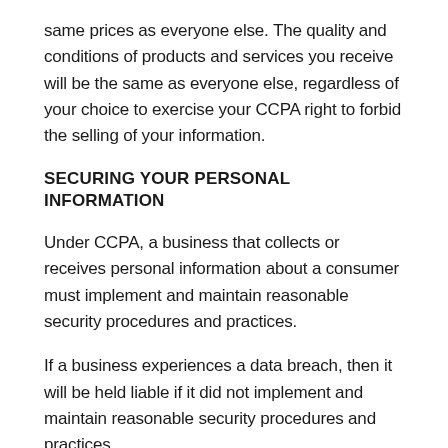same prices as everyone else. The quality and conditions of products and services you receive will be the same as everyone else, regardless of your choice to exercise your CCPA right to forbid the selling of your information.
SECURING YOUR PERSONAL INFORMATION
Under CCPA, a business that collects or receives personal information about a consumer must implement and maintain reasonable security procedures and practices.
If a business experiences a data breach, then it will be held liable if it did not implement and maintain reasonable security procedures and practices.